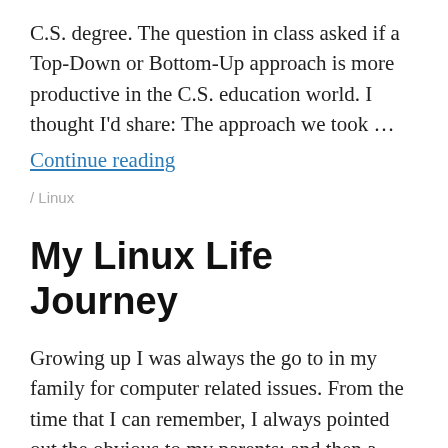C.S. degree. The question in class asked if a Top-Down or Bottom-Up approach is more productive in the C.S. education world. I thought I'd share: The approach we took …
Continue reading
/ Linux
My Linux Life Journey
Growing up I was always the go to in my family for computer related issues. From the time that I can remember, I always pointed out the obvious to my parents; and then a little later in life, I became the ultimate “Googler” from it’s